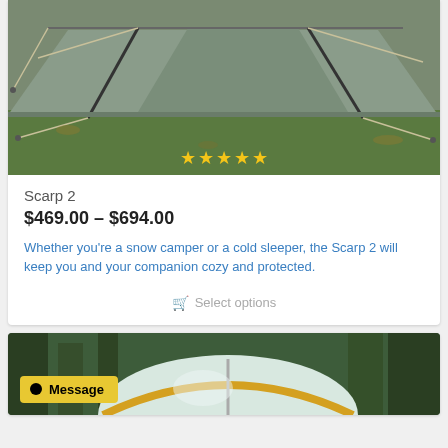[Figure (photo): A gray two-person tent (Scarp 2) set up on grass with guy lines staked out, with five yellow star rating overlaid at bottom center.]
Scarp 2
$469.00 – $694.00
Whether you're a snow camper or a cold sleeper, the Scarp 2 will keep you and your companion cozy and protected.
Select options
[Figure (photo): A yellow and white dome tent set up in a forest with tall trees in the background. A yellow 'Message' badge is visible in the bottom left corner.]